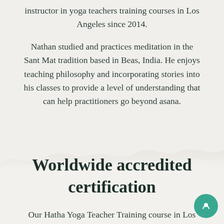instructor in yoga teachers training courses in Los Angeles since 2014.
Nathan studied and practices meditation in the Sant Mat tradition based in Beas, India. He enjoys teaching philosophy and incorporating stories into his classes to provide a level of understanding that can help practitioners go beyond asana.
Worldwide accredited certification
Our Hatha Yoga Teacher Training course in Los